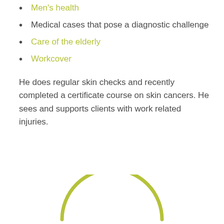Men's health
Medical cases that pose a diagnostic challenge
Care of the elderly
Workcover
He does regular skin checks and recently completed a certificate course on skin cancers. He sees and supports clients with work related injuries.
[Figure (illustration): Partial circle/arc shape in yellow-green color visible at the bottom of the page]